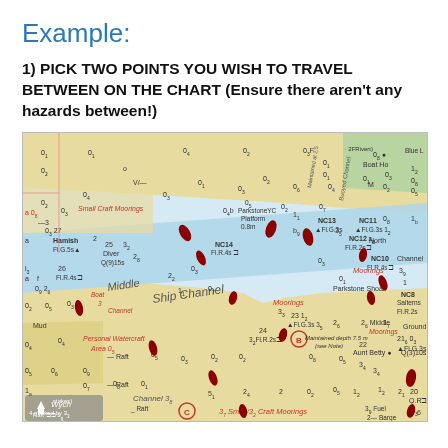Example:
1) PICK TWO POINTS YOU WISH TO TRAVEL BETWEEN ON THE CHART (Ensure there aren't any hazards between!)
[Figure (map): Nautical chart showing Poole Harbour area with Middle Ship Channel, depth soundings, moorings, navigation marks including NC8, NC10, NC11, NC12, NC13, NC14, buoy markers, Parkstone YC Platform, Hamish light, Diver marker, Aunt Betty, Small Craft Moorings, Mud area, Personal Watercraft Area, Raft markers, and various depth numbers throughout. Points B and C are marked on the chart as example waypoints.]